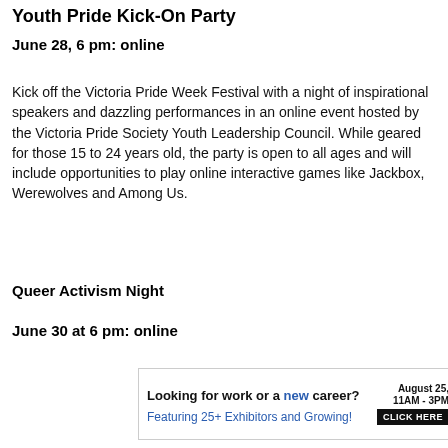Youth Pride Kick-On Party
June 28, 6 pm: online
Kick off the Victoria Pride Week Festival with a night of inspirational speakers and dazzling performances in an online event hosted by the Victoria Pride Society Youth Leadership Council. While geared for those 15 to 24 years old, the party is open to all ages and will include opportunities to play online interactive games like Jackbox, Werewolves and Among Us.
Queer Activism Night
June 30 at 6 pm: online
[Figure (infographic): Advertisement banner: 'Looking for work or a new career? August 25, 11AM - 3PM. Featuring 25+ Exhibitors and Growing! CLICK HERE']